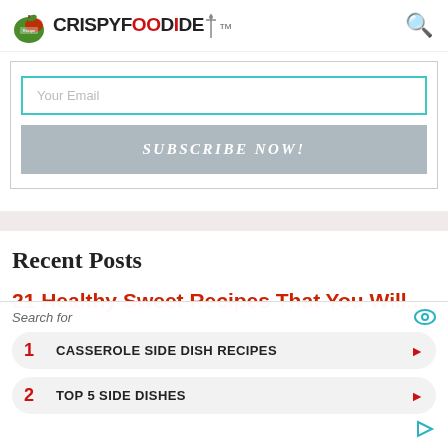CRISPYFOODIDEA™
[Figure (screenshot): Email subscription form with 'Your Email' input and 'SUBSCRIBE NOW!' button inside a bordered box]
Recent Posts
21 Healthy Sweet Recipes That You Will...
[Figure (screenshot): Ad overlay with search results: 1. CASSEROLE SIDE DISH RECIPES, 2. TOP 5 SIDE DISHES]